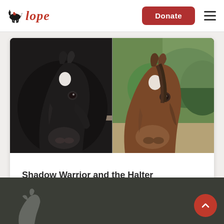[Figure (logo): Lope organization logo with running horse silhouette and italic red script text 'lope']
Donate
[Figure (photo): Side-by-side close-up photos of two horses. Left: a dark/black horse with a white star marking on forehead, near a metal fence rail. Right: a bay/brown horse with a white star marking on forehead, outdoors with green trees in background.]
Shadow Warrior and the Halter
[Figure (other): Dark olive/green footer area with a faint decorative horse/equestrian watermark illustration in lower left. Red circular scroll-to-top button with upward chevron in lower right.]